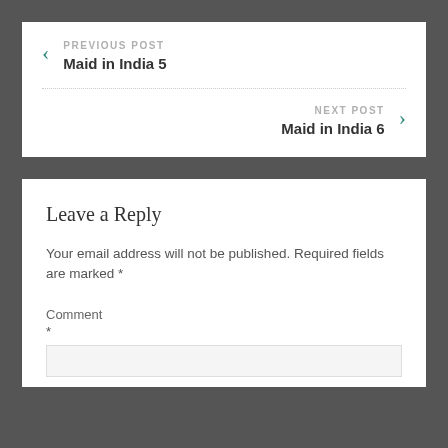PREVIOUS POST
Maid in India 5
NEXT POST
Maid in India 6
Leave a Reply
Your email address will not be published. Required fields are marked *
Comment
*